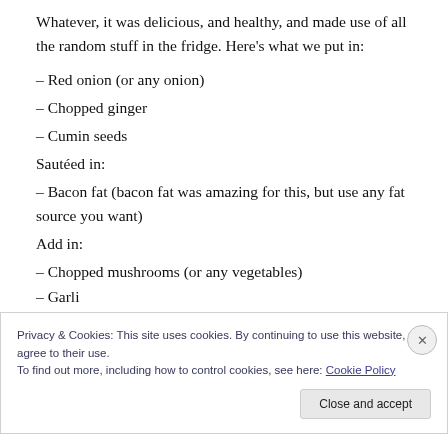Whatever, it was delicious, and healthy, and made use of all the random stuff in the fridge. Here's what we put in:
– Red onion (or any onion)
– Chopped ginger
– Cumin seeds
Sautéed in:
– Bacon fat (bacon fat was amazing for this, but use any fat source you want)
Add in:
– Chopped mushrooms (or any vegetables)
– Garli…
Privacy & Cookies: This site uses cookies. By continuing to use this website, you agree to their use.
To find out more, including how to control cookies, see here: Cookie Policy